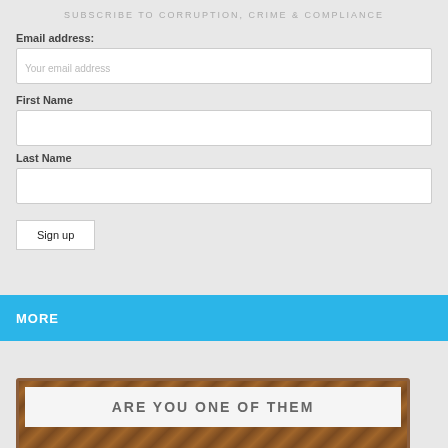SUBSCRIBE TO CORRUPTION, CRIME & COMPLIANCE
Email address:
Your email address
First Name
Last Name
Sign up
MORE
[Figure (photo): Partially visible image with text 'ARE YOU ONE OF THEM' at the bottom, with a rusty/wooden textured border]